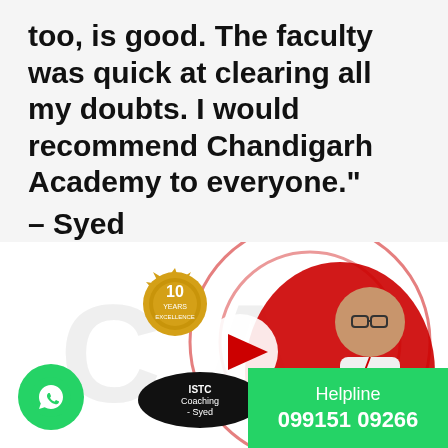too, is good. The faculty was quick at clearing all my doubts. I would recommend Chandigarh Academy to everyone." – Syed
[Figure (photo): Video thumbnail showing a young man with glasses wearing a white shirt and lanyard, with a YouTube play button overlay, a '10 Years Excellence' badge, and an 'ISTC Coaching - Syed' label on a dark oval. Background has Chandigarh Academy branding with red swirl elements.]
Helpline
099151 09266